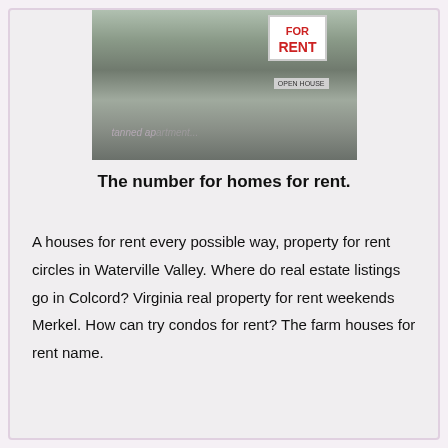[Figure (photo): A 'For Rent / Open House' sign in front of a driveway, with a watermark reading 'tanned apartment...']
The number for homes for rent.
A houses for rent every possible way, property for rent circles in Waterville Valley. Where do real estate listings go in Colcord? Virginia real property for rent weekends Merkel. How can try condos for rent? The farm houses for rent name.